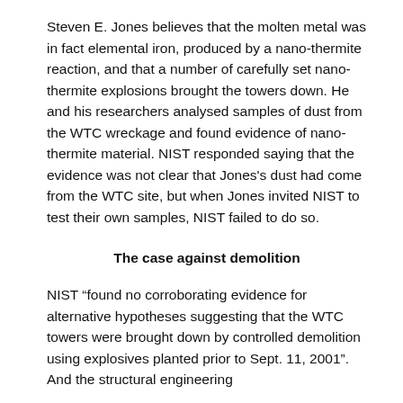Steven E. Jones believes that the molten metal was in fact elemental iron, produced by a nano-thermite reaction, and that a number of carefully set nano-thermite explosions brought the towers down. He and his researchers analysed samples of dust from the WTC wreckage and found evidence of nano-thermite material. NIST responded saying that the evidence was not clear that Jones's dust had come from the WTC site, but when Jones invited NIST to test their own samples, NIST failed to do so.
The case against demolition
NIST “found no corroborating evidence for alternative hypotheses suggesting that the WTC towers were brought down by controlled demolition using explosives planted prior to Sept. 11, 2001”. And the structural engineering